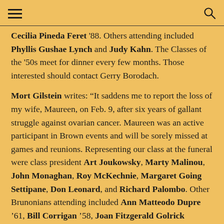[hamburger menu] [search icon]
Cecilia Pineda Feret '88. Others attending included Phyllis Gushae Lynch and Judy Kahn. The Classes of the '50s meet for dinner every few months. Those interested should contact Gerry Borodach.
Mort Gilstein writes: “It saddens me to report the loss of my wife, Maureen, on Feb. 9, after six years of gallant struggle against ovarian cancer. Maureen was an active participant in Brown events and will be sorely missed at games and reunions. Representing our class at the funeral were class president Art Joukowsky, Marty Malinou, John Monaghan, Roy McKechnie, Margaret Going Settipane, Don Leonard, and Richard Palombo. Other Brunonians attending included Ann Matteodo Dupre ’61, Bill Corrigan ’58, Joan Fitzgerald Golrick